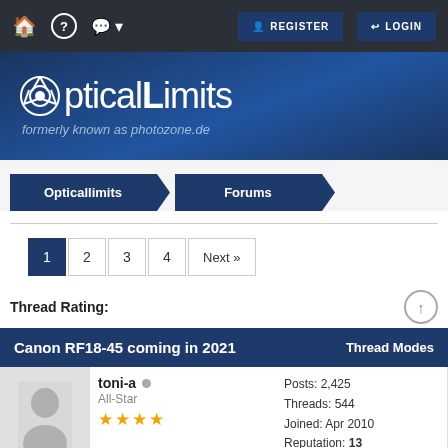REGISTER  LOGIN
[Figure (logo): OpticalLimits logo with camera shutter icon, formerly known as photozone.de]
Opticallimits  Forums
1  2  3  4  Next »
Thread Rating:
Canon RF18-45 coming in 2021  Thread Modes
toni-a  All-Star  Posts: 2,425  Threads: 544  Joined: Apr 2010  Reputation: 13